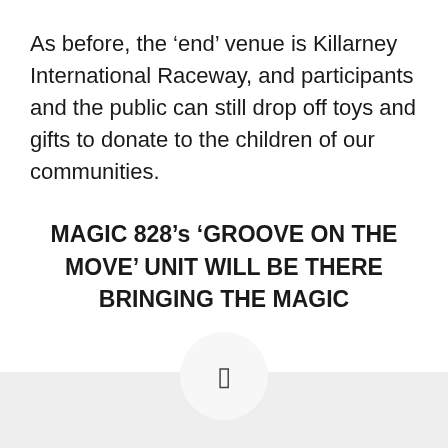As before, the ‘end’ venue is Killarney International Raceway, and participants and the public can still drop off toys and gifts to donate to the children of our communities.
MAGIC 828’s ‘GROOVE ON THE MOVE’ UNIT WILL BE THERE BRINGING THE MAGIC